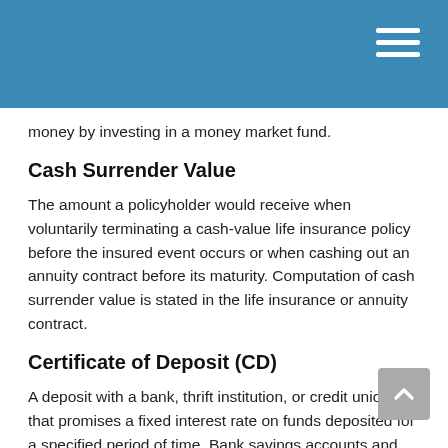money by investing in a money market fund.
Cash Surrender Value
The amount a policyholder would receive when voluntarily terminating a cash-value life insurance policy before the insured event occurs or when cashing out an annuity contract before its maturity. Computation of cash surrender value is stated in the life insurance or annuity contract.
Certificate of Deposit (CD)
A deposit with a bank, thrift institution, or credit union that promises a fixed interest rate on funds deposited for a specified period of time. Bank savings accounts and CDs are FDIC insured up to $250,000 per depositor per institution and generally provide a fixed rate of return, whereas the value of money market mutual funds can fluctuate.